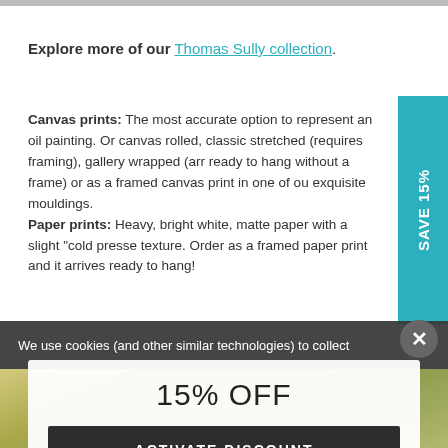Explore more of our Thomas Sully collection.
Canvas prints: The most accurate option to represent an oil painting. Order canvas rolled, classic stretched (requires framing), gallery wrapped (arrives ready to hang without a frame) or as a framed canvas print in one of our exquisite mouldings.
Paper prints: Heavy, bright white, matte paper with a slight "cold pressed" texture. Order as a framed paper print and it arrives ready to hang!
We use cookies (and other similar technologies) to collect
15% OFF
ACTIVATE DISCOUNT